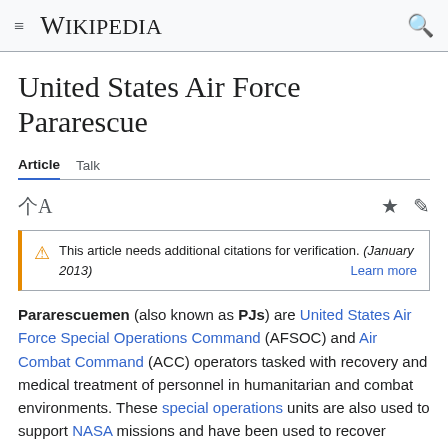Wikipedia
United States Air Force Pararescue
Article   Talk
This article needs additional citations for verification. (January 2013) Learn more
Pararescuemen (also known as PJs) are United States Air Force Special Operations Command (AFSOC) and Air Combat Command (ACC) operators tasked with recovery and medical treatment of personnel in humanitarian and combat environments. These special operations units are also used to support NASA missions and have been used to recover astronauts after water landings. They are